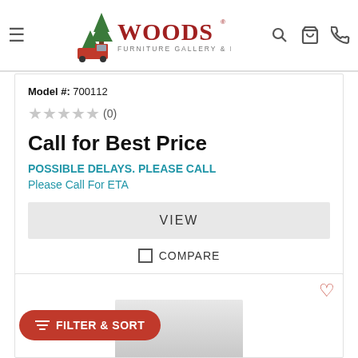[Figure (logo): Woods Furniture Gallery & Design logo with pine trees and red truck]
Model #: 700112
★★★★★ (0)
Call for Best Price
POSSIBLE DELAYS. PLEASE CALL
Please Call For ETA
VIEW
COMPARE
[Figure (photo): Partial view of a furniture item, second product card]